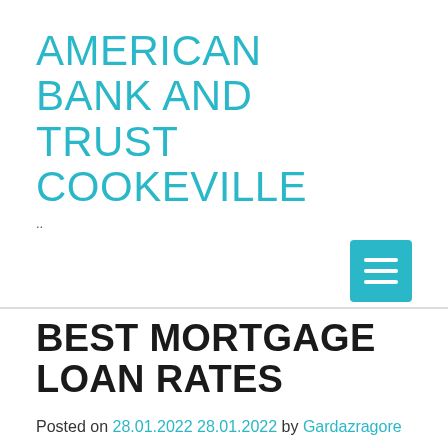AMERICAN BANK AND TRUST COOKEVILLE
..
BEST MORTGAGE LOAN RATES
Posted on 28.01.2022 28.01.2022 by Gardazragore